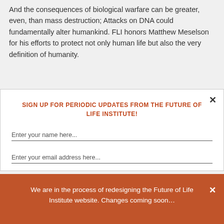And the consequences of biological warfare can be greater, even, than mass destruction; Attacks on DNA could fundamentally alter humankind. FLI honors Matthew Meselson for his efforts to protect not only human life but also the very definition of humanity.
SIGN UP FOR PERIODIC UPDATES FROM THE FUTURE OF LIFE INSTITUTE!
Enter your name here...
Enter your email address here...
We are in the process of redesigning the Future of Life Institute website. Changes coming soon...